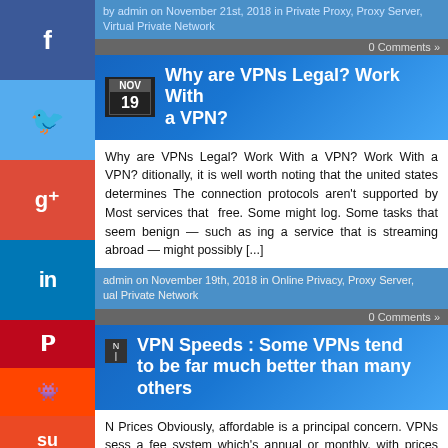by admin on November 21st, 2018 in Private Proxy, Proxy Server, Virtual Private Network
Why are VPNs Legal? Work With a VPN?
Why are VPNs Legal? Work With a VPN? Work With a VPN? Additionally, it is well worth noting that the united states determines The connection protocols aren't supported by Most services that free. Some might log. Some tasks that seem benign — such as ing a service that is streaming abroad — might possibly [...]
admin on November 19th, 2018 in Online Privacy, Proxy Server, Virtual Private Network
VPN Speeds : Some VPNs tend to be far much better than many others
N Prices Obviously, affordable is a principal concern. VPNs sess a fee system which's annual or monthly, with prices based the length of time you are willing to devote. Services that are xpensive are not necessarily however, both, paying high dollar will guarantee you features you're sure to desire. No cost VPNs are
admin on November 17th, 2018 in Piracy Notices, Virtual Private Network